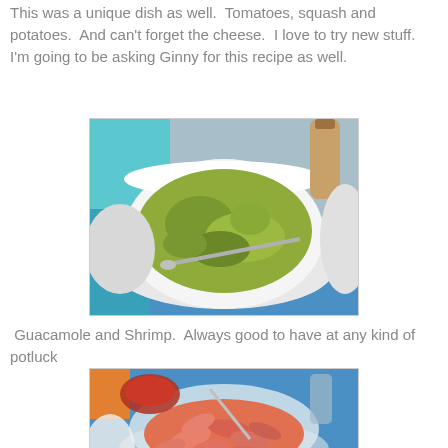This was a unique dish as well.  Tomatoes, squash and potatoes.  And can't forget the cheese.  I love to try new stuff.  I'm going to be asking Ginny for this recipe as well.
[Figure (photo): A bowl of green guacamole with a spoon, surrounded by dishes and a colorful tablecloth]
Guacamole and Shrimp.  Always good to have at any kind of potluck
[Figure (photo): A bowl of cooked shrimp with cocktail sauce and other dishes on a blue tablecloth]